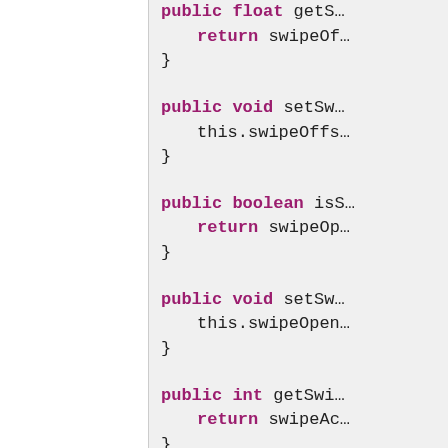[Figure (screenshot): Source code snippet showing Java class methods with keywords 'public float', 'public void', 'public boolean', 'public int' highlighted in bold magenta, and method bodies with 'return' statements and 'this.' assignments. Code is cropped on the right side.]